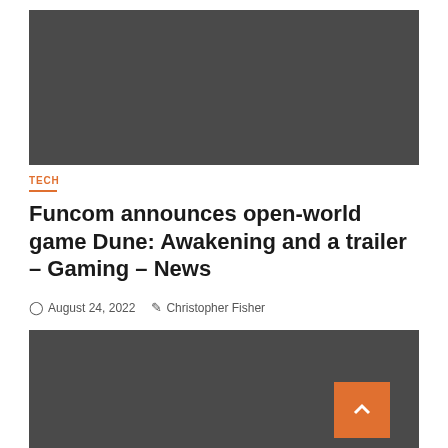[Figure (photo): Dark grey hero image placeholder for article about Dune: Awakening game]
TECH
Funcom announces open-world game Dune: Awakening and a trailer – Gaming – News
August 24, 2022   Christopher Fisher
[Figure (photo): Dark grey content section with 1 min read badge and orange scroll-to-top button]